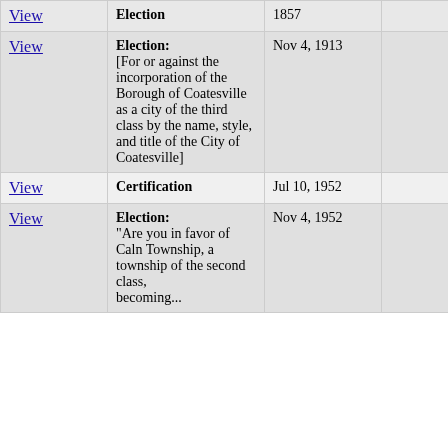| View | Type | Date |  |  |
| --- | --- | --- | --- | --- |
| View | Election | 1857 |  |  |
| View | Election: [For or against the incorporation of the Borough of Coatesville as a city of the third class by the name, style, and title of the City of Coatesville] | Nov 4, 1913 |  |  |
| View | Certification | Jul 10, 1952 |  |  |
| View | Election: "Are you in favor of Caln Township, a township of the second class, becoming... | Nov 4, 1952 |  |  |